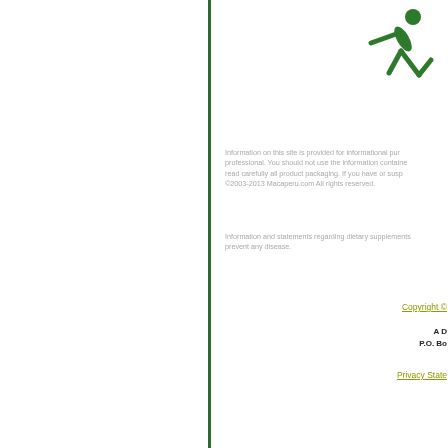[Figure (logo): Green figure of a person running or stretching, serving as a website logo for Macaperu.com]
Information on this site is provided for informational purposes only and is not meant to substitute for the advice provided by your own physician or other medical professional. You should not use the information contained herein for diagnosing or treating a health problem or disease, or prescribing any medication. You should read carefully all product packaging. If you have or suspect that you have a medical problem, promptly contact your health care provider. ©2003-2013 Macaperu.com All rights reserved.
Information and statements regarding dietary supplements have not been evaluated by the Food and Drug Administration and are not intended to diagnose, treat, cure, or prevent any disease.
Copyright ©
A D
P.O. Bo
Privacy State